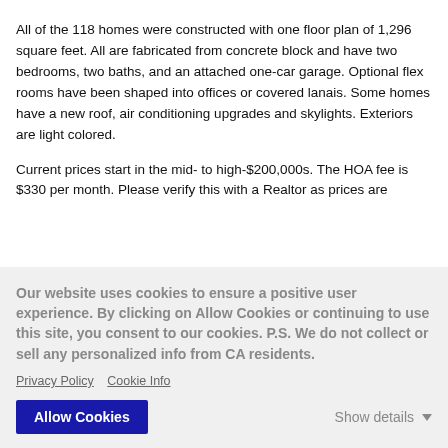All of the 118 homes were constructed with one floor plan of 1,296 square feet. All are fabricated from concrete block and have two bedrooms, two baths, and an attached one-car garage. Optional flex rooms have been shaped into offices or covered lanais. Some homes have a new roof, air conditioning upgrades and skylights. Exteriors are light colored.
Current prices start in the mid- to high-$200,000s. The HOA fee is $330 per month. Please verify this with a Realtor as prices are [clipped]...
Our website uses cookies to ensure a positive user experience. By clicking on Allow Cookies or continuing to use this site, you consent to our cookies. P.S. We do not collect or sell any personalized info from CA residents.
Privacy Policy  Cookie Info
Allow Cookies
Show details